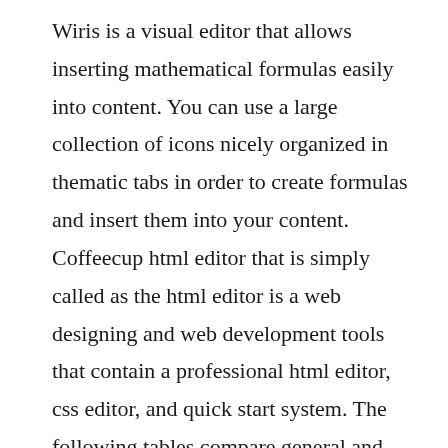Wiris is a visual editor that allows inserting mathematical formulas easily into content. You can use a large collection of icons nicely organized in thematic tabs in order to create formulas and insert them into your content. Coffeecup html editor that is simply called as the html editor is a web designing and web development tools that contain a professional html editor, css editor, and quick start system. The following tables compare general and technical information for a number of html editors please see the individual products